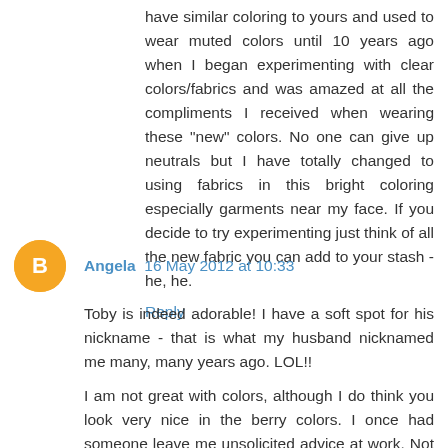have similar coloring to yours and used to wear muted colors until 10 years ago when I began experimenting with clear colors/fabrics and was amazed at all the compliments I received when wearing these "new" colors. No one can give up neutrals but I have totally changed to using fabrics in this bright coloring especially garments near my face. If you decide to try experimenting just think of all the new fabric you can add to your stash - he, he.
Reply
Angela 16 May 2012 at 10:33
Toby is indeed adorable! I have a soft spot for his nickname - that is what my husband nicknamed me many, many years ago. LOL!!
I am not great with colors, although I do think you look very nice in the berry colors. I once had someone leave me unsolicited advice at work. Not about colors or clothes, but apparently I needed to learn that someone suffering from significant acne shouldn't use oil-based makeup. I didn't know that at the time...